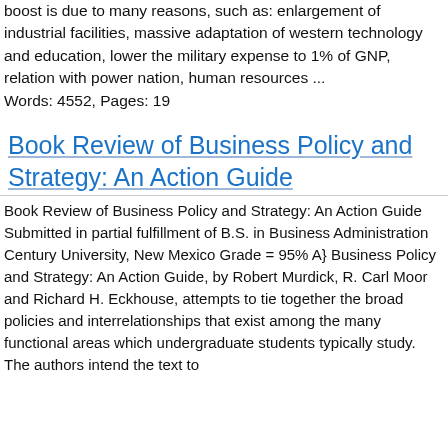boost is due to many reasons, such as: enlargement of industrial facilities, massive adaptation of western technology and education, lower the military expense to 1% of GNP, relation with power nation, human resources ...
Words: 4552, Pages: 19
Book Review of Business Policy and Strategy: An Action Guide
Book Review of Business Policy and Strategy: An Action Guide Submitted in partial fulfillment of B.S. in Business Administration Century University, New Mexico Grade = 95% A} Business Policy and Strategy: An Action Guide, by Robert Murdick, R. Carl Moor and Richard H. Eckhouse, attempts to tie together the broad policies and interrelationships that exist among the many functional areas which undergraduate students typically study. The authors intend the text to